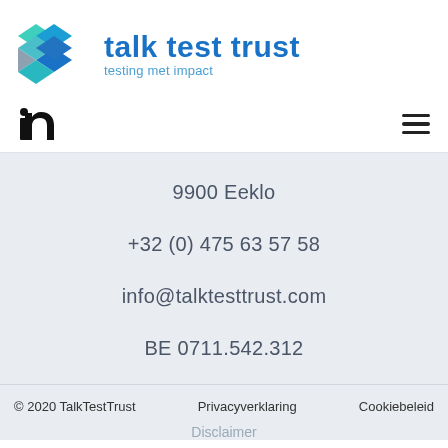[Figure (logo): Talk Test Trust logo: colorful X shape made of teal, blue, and gray diamond tiles]
talk test trust
testing met impact
[Figure (logo): LinkedIn 'in' icon in dark blue/black]
9900 Eeklo
+32 (0) 475 63 57 58
info@talktesttrust.com
BE 0711.542.312
© 2020 TalkTestTrust   Privacyverklaring   Cookiebeleid
Disclaimer